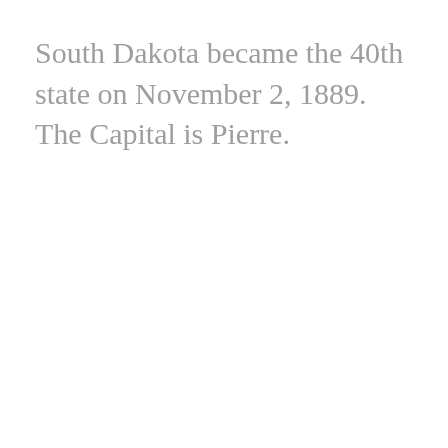South Dakota became the 40th state on November 2, 1889. The Capital is Pierre.